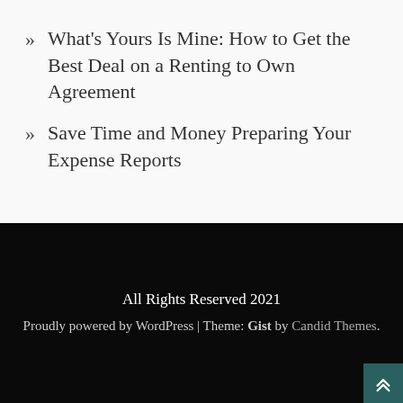What's Yours Is Mine: How to Get the Best Deal on a Renting to Own Agreement
Save Time and Money Preparing Your Expense Reports
All Rights Reserved 2021
Proudly powered by WordPress | Theme: Gist by Candid Themes.